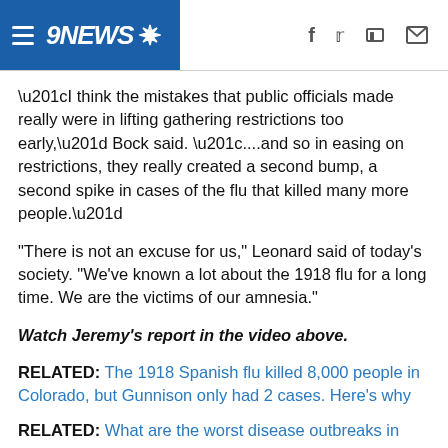9NEWS
“I think the mistakes that public officials made really were in lifting gathering restrictions too early,” Bock said. “....and so in easing on restrictions, they really created a second bump, a second spike in cases of the flu that killed many more people.”
"There is not an excuse for us," Leonard said of today’s society. "We’ve known a lot about the 1918 flu for a long time. We are the victims of our amnesia."
Watch Jeremy’s report in the video above.
RELATED: The 1918 Spanish flu killed 8,000 people in Colorado, but Gunnison only had 2 cases. Here’s why
RELATED: What are the worst disease outbreaks in history?